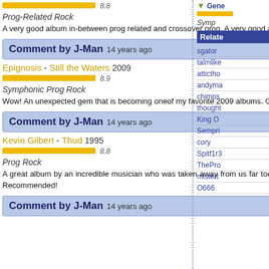8.8
Prog-Related Rock
A very good album in-between prog related and crossover prog. A very good album by a genius that died far too soon. RIP Kevin.
Comment by J-Man 14 years ago
Epignosis - Still the Waters 2009
8.9
Symphonic Prog Rock
Wow! An unexpected gem that is becoming oneof my favorite 2009 albums. Great job Robert!
Comment by J-Man 14 years ago
Kevin Gilbert - Thud 1995
8.8
Prog Rock
A great album by an incredible musician who was taken away from us far too soon. This has great music, incredible lyrics, and a great voice. Highly Recommended!
Comment by J-Man 14 years ago
Gene
Symp
Relate
sgator
talmlike
atticthо
andyma
chimps
thought
King O
Sempri
cory
Spitf1r3
ThePro
mistert
O666